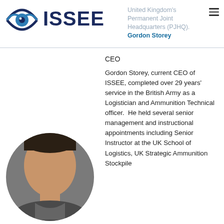[Figure (logo): ISSEE logo with stylized eye icon and bold dark blue ISSEE text]
United Kingdom's Permanent Joint Headquarters (PJHQ). Gordon Storey
CEO
Gordon Storey, current CEO of ISSEE, completed over 29 years' service in the British Army as a Logistician and Ammunition Technical officer.  He held several senior management and instructional appointments including Senior Instructor at the UK School of Logistics, UK Strategic Ammunition Stockpile
[Figure (photo): Circular portrait photo of Gordon Storey, a man with dark hair, photographed against a grey background]